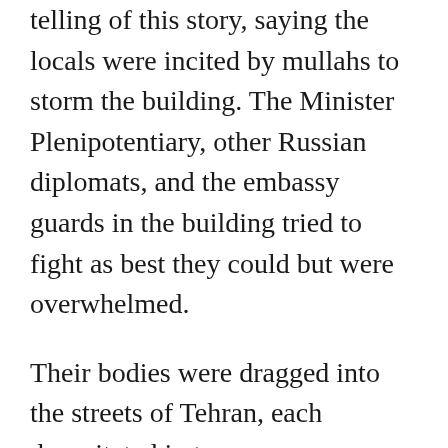telling of this story, saying the locals were incited by mullahs to storm the building. The Minister Plenipotentiary, other Russian diplomats, and the embassy guards in the building tried to fight as best they could but were overwhelmed.
Their bodies were dragged into the streets of Tehran, each decapitated in turn.
Griboyedov's body was eventually returned to his native Tbilisi, now in Georgia. Shah Fath-Ali sent an envoy to Tsar Nicholas I of Russia as an